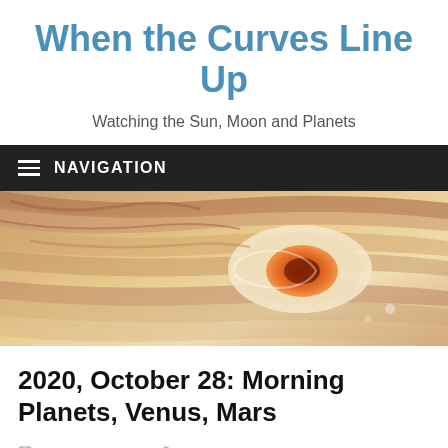When the Curves Line Up
Watching the Sun, Moon and Planets
NAVIGATION
[Figure (photo): Close-up photograph of Jupiter's surface showing swirling cloud bands in tan, orange, cream, and brown colors, with the iconic Great Red Spot (a large orange oval storm) visible near the right-center of the image.]
2020, October 28: Morning Planets, Venus, Mars
October 28, 2020    Jeffrey L. Hunt